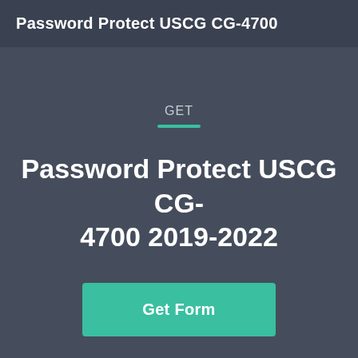Password Protect USCG CG-4700
GET
Password Protect USCG CG-4700 2019-2022
Get Form